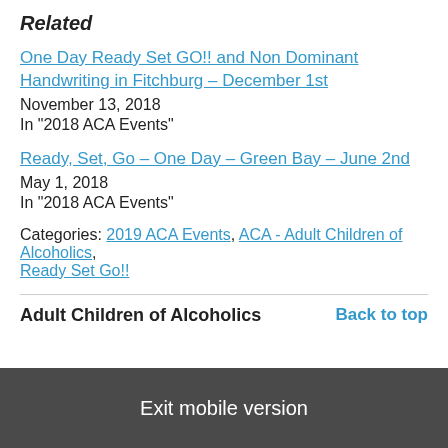Related
One Day Ready Set GO!! and Non Dominant Handwriting in Fitchburg – December 1st
November 13, 2018
In "2018 ACA Events"
Ready, Set, Go – One Day – Green Bay – June 2nd
May 1, 2018
In "2018 ACA Events"
Categories: 2019 ACA Events, ACA - Adult Children of Alcoholics, Ready Set Go!!
Adult Children of Alcoholics
Back to top
Exit mobile version